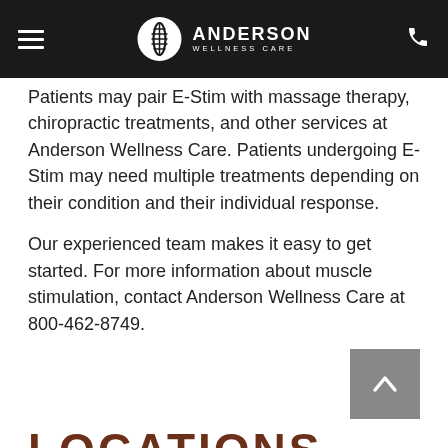Anderson Wellness Care
Patients may pair E-Stim with massage therapy, chiropractic treatments, and other services at Anderson Wellness Care. Patients undergoing E-Stim may need multiple treatments depending on their condition and their individual response.
Our experienced team makes it easy to get started. For more information about muscle stimulation, contact Anderson Wellness Care at 800-462-8749.
[Figure (other): Scroll to top button with upward chevron arrow on grey background]
LOCATIONS